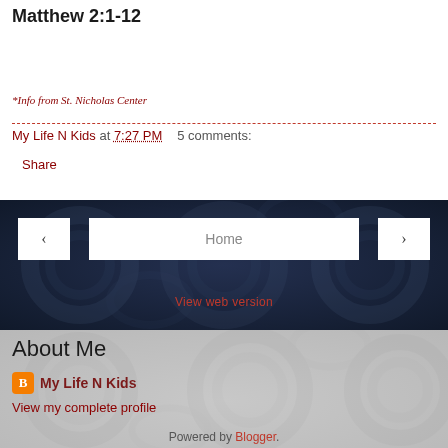Matthew 2:1-12
*Info from St. Nicholas Center
My Life N Kids at 7:27 PM   5 comments:
Share
[Figure (screenshot): Dark decorative banner with swirl pattern background and navigation buttons: left arrow, Home, right arrow, and a View web version link below]
About Me
My Life N Kids
View my complete profile
Powered by Blogger.